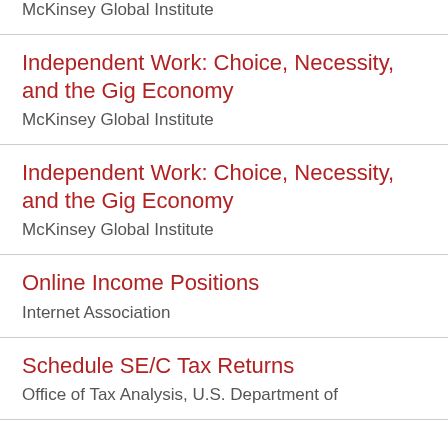McKinsey Global Institute
Independent Work: Choice, Necessity, and the Gig Economy
McKinsey Global Institute
Independent Work: Choice, Necessity, and the Gig Economy
McKinsey Global Institute
Online Income Positions
Internet Association
Schedule SE/C Tax Returns
Office of Tax Analysis, U.S. Department of